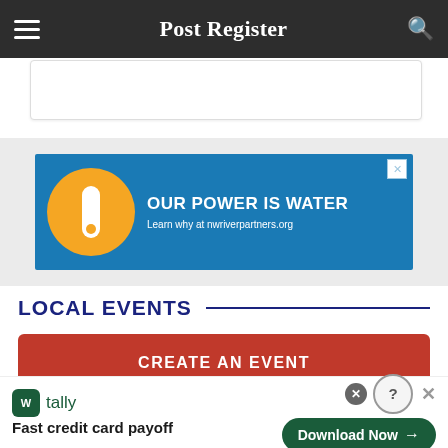Post Register
[Figure (screenshot): White card/content area at top of page]
[Figure (illustration): Advertisement banner: OUR POWER IS WATER - Learn why at nwriverpartners.org, with orange circle and water/blue background]
LOCAL EVENTS
CREATE AN EVENT
Search for events by name, keyword, location, venue.
[Figure (illustration): Tally advertisement banner: Fast credit card payoff, Download Now button]